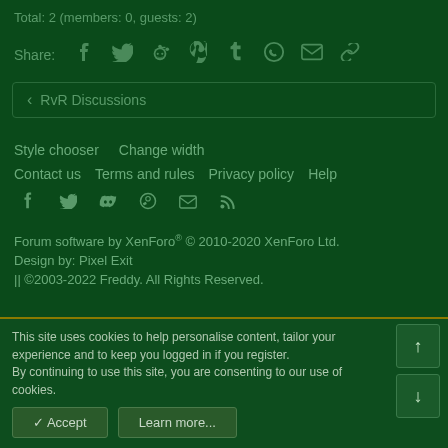Total: 2 (members: 0, guests: 2)
Share: [social icons: Facebook, Twitter, Reddit, Pinterest, Tumblr, WhatsApp, Email, Link]
< RvR Discussions
Style chooser   Change width
Contact us   Terms and rules   Privacy policy   Help
[social icons: Facebook, Twitter, Discord, Steam, Email, RSS]
Forum software by XenForo® © 2010-2020 XenForo Ltd.
Design by: Pixel Exit
|| ©2003-2022 Freddy. All Rights Reserved.
This site uses cookies to help personalise content, tailor your experience and to keep you logged in if you register.
By continuing to use this site, you are consenting to our use of cookies.
[Accept] [Learn more...]